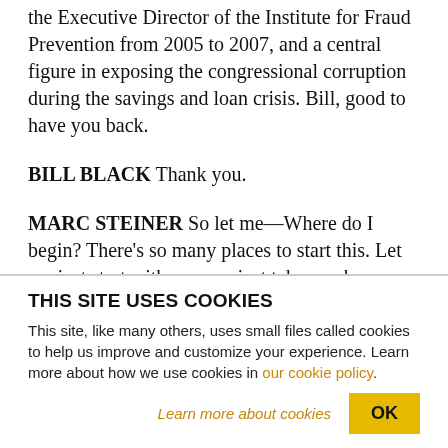the Executive Director of the Institute for Fraud Prevention from 2005 to 2007, and a central figure in exposing the congressional corruption during the savings and loan crisis. Bill, good to have you back.
BILL BLACK Thank you.
MARC STEINER So let me—Where do I begin? There's so many places to start this. Let me just start with, can we just take maybe a minute and a half for
THIS SITE USES COOKIES
This site, like many others, uses small files called cookies to help us improve and customize your experience. Learn more about how we use cookies in our cookie policy.
Learn more about cookies   OK